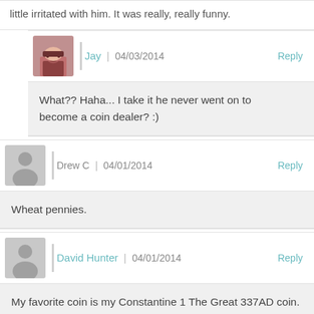little irritated with him. It was really, really funny.
Jay | 04/03/2014   Reply
What?? Haha... I take it he never went on to become a coin dealer? :)
Drew C | 04/01/2014   Reply
Wheat pennies.
David Hunter | 04/01/2014   Reply
My favorite coin is my Constantine 1 The Great 337AD coin. Now that's history!